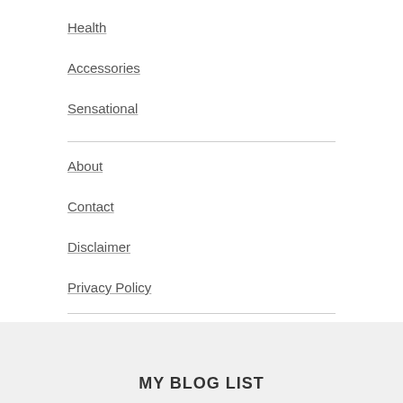Health
Accessories
Sensational
About
Contact
Disclaimer
Privacy Policy
MY BLOG LIST